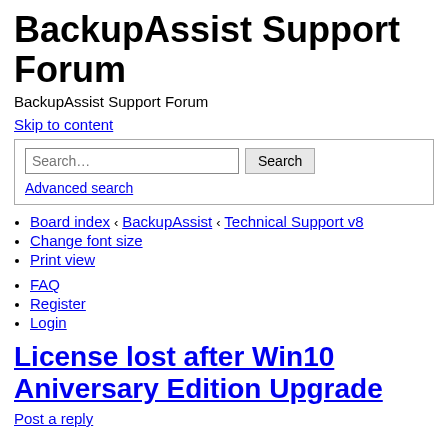BackupAssist Support Forum
BackupAssist Support Forum
Skip to content
Search… Search Advanced search
Board index ‹ BackupAssist ‹ Technical Support v8
Change font size
Print view
FAQ
Register
Login
License lost after Win10 Aniversary Edition Upgrade
Post a reply